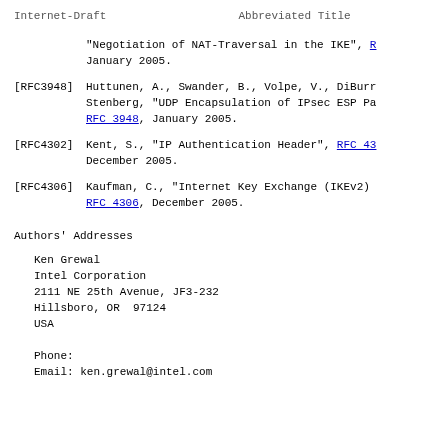Internet-Draft                    Abbreviated Title
"Negotiation of NAT-Traversal in the IKE", R[FC...], January 2005.
[RFC3948]  Huttunen, A., Swander, B., Volpe, V., DiBurr... Stenberg, "UDP Encapsulation of IPsec ESP Pa...", RFC 3948, January 2005.
[RFC4302]  Kent, S., "IP Authentication Header", RFC 4302..., December 2005.
[RFC4306]  Kaufman, C., "Internet Key Exchange (IKEv2)...", RFC 4306, December 2005.
Authors' Addresses
Ken Grewal
Intel Corporation
2111 NE 25th Avenue, JF3-232
Hillsboro, OR  97124
USA

Phone:
Email: ken.grewal@intel.com